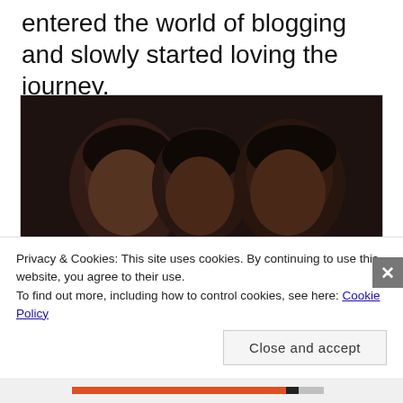entered the world of blogging and slowly started loving the journey.
[Figure (photo): A photo of three people (two young men and a woman in the middle) posing together closely, taken in a dimly lit indoor setting.]
Privacy & Cookies: This site uses cookies. By continuing to use this website, you agree to their use.
To find out more, including how to control cookies, see here: Cookie Policy
Close and accept